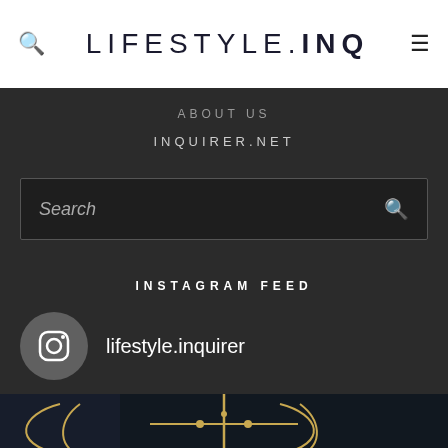LIFESTYLE.INQ
ABOUT US
INQUIRER.NET
Search
INSTAGRAM FEED
lifestyle.inquirer
[Figure (photo): Decorative ironwork or jewelry with floral motifs on a dark background]